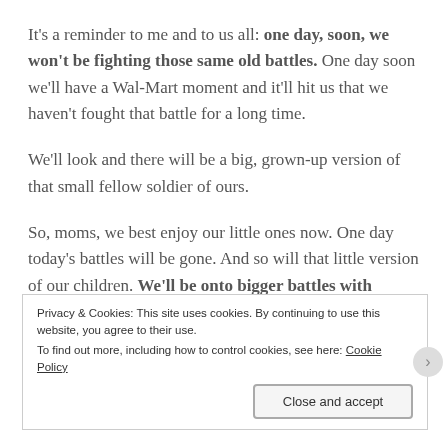It's a reminder to me and to us all: one day, soon, we won't be fighting those same old battles. One day soon we'll have a Wal-Mart moment and it'll hit us that we haven't fought that battle for a long time.
We'll look and there will be a big, grown-up version of that small fellow soldier of ours.
So, moms, we best enjoy our little ones now. One day today's battles will be gone. And so will that little version of our children. We'll be onto bigger battles with bigger children.
Privacy & Cookies: This site uses cookies. By continuing to use this website, you agree to their use.
To find out more, including how to control cookies, see here: Cookie Policy
Close and accept